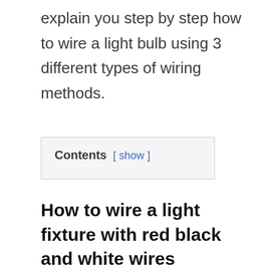explain you step by step how to wire a light bulb using 3 different types of wiring methods.
Contents [ show ]
How to wire a light fixture with red black and white wires